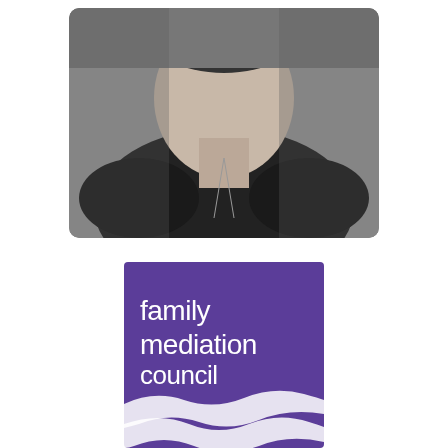[Figure (photo): Black and white portrait photo of a woman wearing a dark sleeveless top and a long necklace, cropped at the torso/neck level, with rounded corners.]
[Figure (logo): Family Mediation Council logo: purple rectangular background with white text 'family mediation council' and two white wave shapes below, with the word 'child' partially visible at the bottom.]